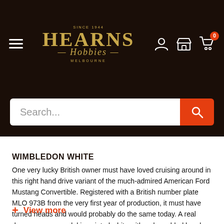Hearns Hobbies — Navigation header with logo, search, and cart icons
WIMBLEDON WHITE
One very lucky British owner must have loved cruising around in this right hand drive variant of the much-admired American Ford Mustang Convertible. Registered with a British number plate MLO 973B from the very first year of production, it must have turned heads and would probably do the same today. A real dream car, our model is painted white with red moulded hood, interior and steering wheel. The whitewall tyres feature chrome hubs and a GB sticker is
+ View more